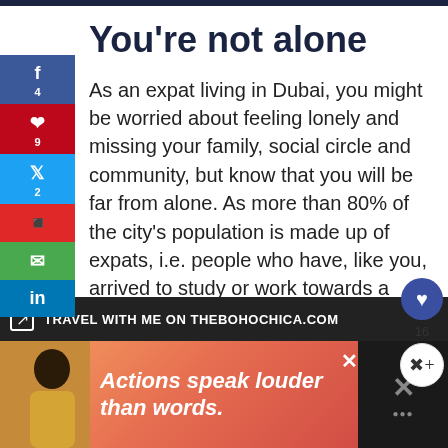You’re not alone
As an expat living in Dubai, you might be worried about feeling lonely and missing your family, social circle and community, but know that you will be far from alone. As more than 80% of the city’s population is made up of expats, i.e. people who have, like you, arrived to study or work towards a better life or find opportunities, it is quite easy to find your new tribe or community, as Dubai residents are very open-minded and welcoming.
TRAVEL WITH ME ON THEBOHOCHICA.COM
[Figure (infographic): Advertisement banner: person in yellow jacket, text 'Actions speak louder than words.' on red-orange gradient background]